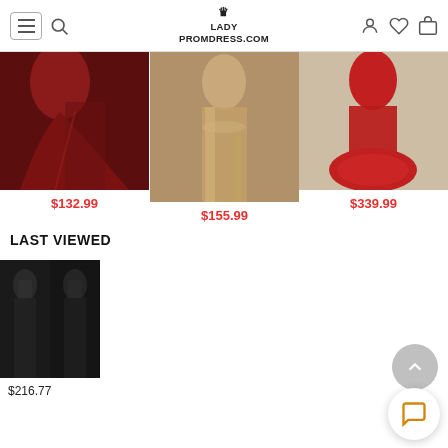LADY PROMDRESS.COM
[Figure (photo): Dark red/burgundy ball gown with high slit]
$132.99
[Figure (photo): Gold/rose sequin mermaid gown with slit]
$155.99
[Figure (photo): Red sequin mermaid gown with feathered bottom]
$339.99
LAST VIEWED
[Figure (photo): Black mermaid gown, two poses side by side]
$216.77